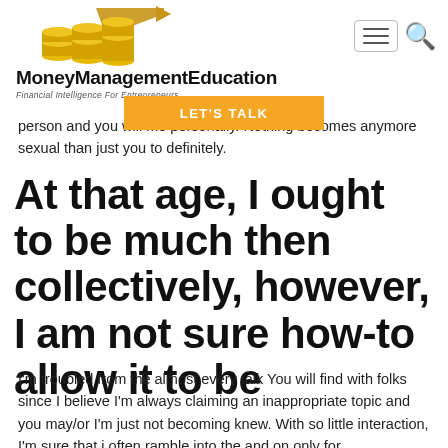[Figure (logo): MoneyManagementEducation logo with gold coins and upward arrow, site name and tagline 'Financial Intelligence For Entrepreneurs']
[Figure (other): Navigation hamburger menu icon and search icon]
[Figure (other): Orange 'LET'S TALK' call-to-action button]
person and you will me personally. Nothing becomes anymore sexual than just you to definitely.
At that age, I ought to be much then collectively, however, I am not sure how-to allow it to be
I'm troubled from the almost every talk You will find with folks since I believe I'm always claiming an inappropriate topic and you may/or I'm just not becoming knew. With so little interaction, I'm sure that i often ramble into the and on only for